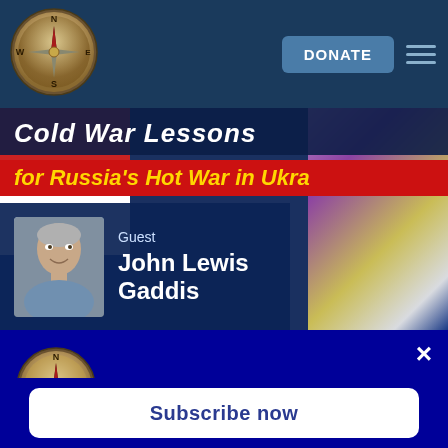[Figure (logo): Compass rose navigation logo in top-left of navbar]
DONATE
[Figure (screenshot): Banner showing 'Cold War Lessons for Russia's Hot War in Ukraine' with guest John Lewis Gaddis photo]
Don't miss our updates!
Subscribe now